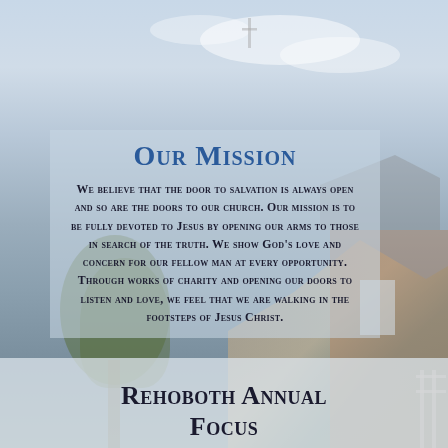[Figure (photo): Church building exterior with blue sky background, brick building visible on right side, trees on left, semi-transparent gray-blue overlay in center]
Our Mission
We believe that the door to salvation is always open and so are the doors to our church. Our mission is to be fully devoted to Jesus by opening our arms to those in search of the truth. We show God's love and concern for our fellow man at every opportunity. Through works of charity and opening our doors to listen and love, we feel that we are walking in the footsteps of Jesus Christ.
Rehoboth Annual Focus